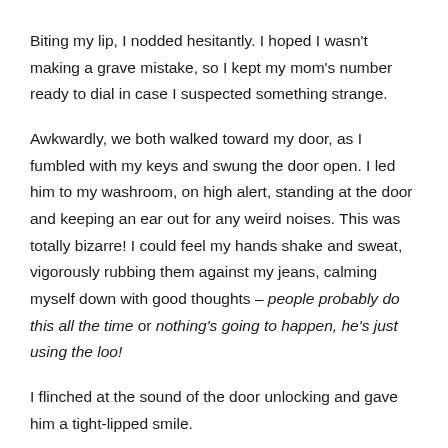Biting my lip, I nodded hesitantly. I hoped I wasn't making a grave mistake, so I kept my mom's number ready to dial in case I suspected something strange.
Awkwardly, we both walked toward my door, as I fumbled with my keys and swung the door open. I led him to my washroom, on high alert, standing at the door and keeping an ear out for any weird noises. This was totally bizarre! I could feel my hands shake and sweat, vigorously rubbing them against my jeans, calming myself down with good thoughts – people probably do this all the time or nothing's going to happen, he's just using the loo!
I flinched at the sound of the door unlocking and gave him a tight-lipped smile.